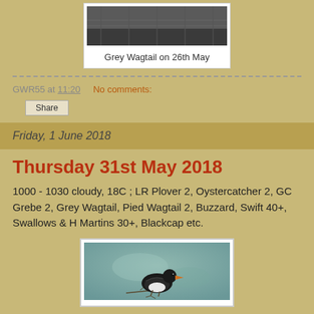[Figure (photo): Photograph of a Grey Wagtail bird near water, shown in a white-bordered photo box]
Grey Wagtail on 26th May
GWR55 at 11:20    No comments:
Share
Friday, 1 June 2018
Thursday 31st May 2018
1000 - 1030 cloudy, 18C ; LR Plover 2, Oystercatcher 2, GC Grebe 2, Grey Wagtail, Pied Wagtail 2, Buzzard, Swift 40+, Swallows & H Martins 30+, Blackcap etc.
[Figure (photo): Photograph of a bird (likely an Oystercatcher or similar bird) perched, with a colorful beak, against a blurred green/grey background]